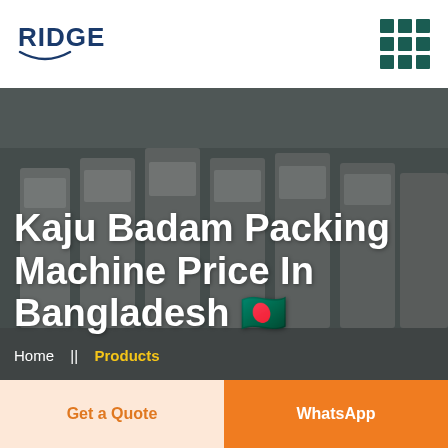[Figure (logo): RIDGE company logo with blue text and arc underline]
[Figure (photo): Factory interior showing rows of industrial packing machines in a large warehouse]
Kaju Badam Packing Machine Price In Bangladesh 🇧🇩
Home  ||  Products
Get a Quote
WhatsApp